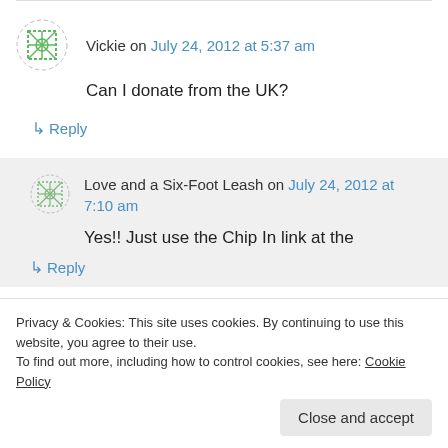Vickie on July 24, 2012 at 5:37 am
Can I donate from the UK?
↳ Reply
Love and a Six-Foot Leash on July 24, 2012 at 7:10 am
Yes!! Just use the Chip In link at the
Privacy & Cookies: This site uses cookies. By continuing to use this website, you agree to their use. To find out more, including how to control cookies, see here: Cookie Policy
Close and accept
↳ Reply